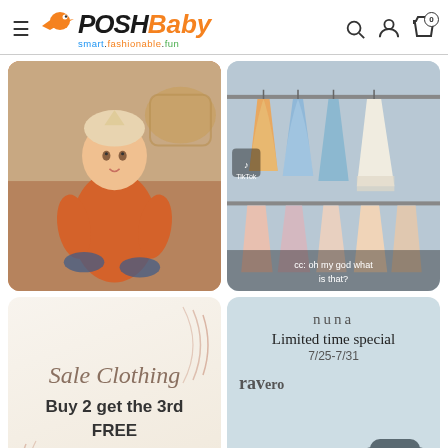Posh Baby - smart.fashionable.fun
[Figure (photo): Baby in orange romper with knit hat, being supported by adult hands, warm indoor setting]
[Figure (photo): Children's dresses hanging on racks in a store, various colors including blue, pink, and white. TikTok overlay with caption 'cc: oh my god what is that?']
[Figure (infographic): Sale Clothing promotional card with script text and decorative arcs. Text: Sale Clothing, Buy 2 get the 3rd FREE]
[Figure (infographic): Nuna brand promotional card. Text: nuna, Limited time special, 7/25-7/31, rav[ero], Oxford. With chat button overlay.]